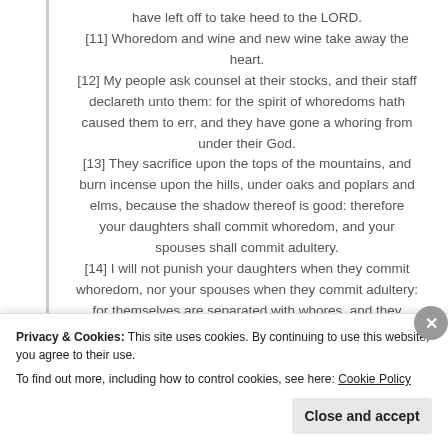have left off to take heed to the LORD. [11] Whoredom and wine and new wine take away the heart. [12] My people ask counsel at their stocks, and their staff declareth unto them: for the spirit of whoredoms hath caused them to err, and they have gone a whoring from under their God. [13] They sacrifice upon the tops of the mountains, and burn incense upon the hills, under oaks and poplars and elms, because the shadow thereof is good: therefore your daughters shall commit whoredom, and your spouses shall commit adultery. [14] I will not punish your daughters when they commit whoredom, nor your spouses when they commit adultery: for themselves are separated with whores, and they sacrifice with harlots: therefore the people that doth not
Privacy & Cookies: This site uses cookies. By continuing to use this website, you agree to their use. To find out more, including how to control cookies, see here: Cookie Policy